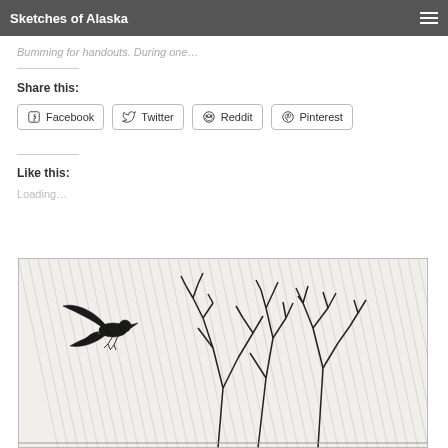Sketches of Alaska
Bumming for handouts. During one…
Share this:
Facebook  Twitter  Reddit  Pinterest
Like this:
Loading…
[Figure (illustration): Pencil sketch illustration of a crow or raven in flight above bare winter trees, rendered with dense diagonal hatching for the sky background]